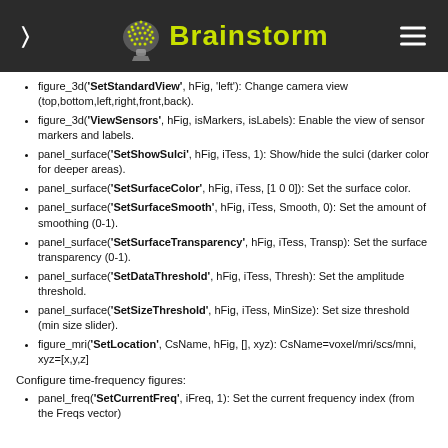Brainstorm
figure_3d('SetStandardView', hFig, 'left'): Change camera view (top,bottom,left,right,front,back).
figure_3d('ViewSensors', hFig, isMarkers, isLabels): Enable the view of sensor markers and labels.
panel_surface('SetShowSulci', hFig, iTess, 1): Show/hide the sulci (darker color for deeper areas).
panel_surface('SetSurfaceColor', hFig, iTess, [1 0 0]): Set the surface color.
panel_surface('SetSurfaceSmooth', hFig, iTess, Smooth, 0): Set the amount of smoothing (0-1).
panel_surface('SetSurfaceTransparency', hFig, iTess, Transp): Set the surface transparency (0-1).
panel_surface('SetDataThreshold', hFig, iTess, Thresh): Set the amplitude threshold.
panel_surface('SetSizeThreshold', hFig, iTess, MinSize): Set size threshold (min size slider).
figure_mri('SetLocation', CsName, hFig, [], xyz): CsName=voxel/mri/scs/mni, xyz=[x,y,z]
Configure time-frequency figures:
panel_freq('SetCurrentFreq', iFreq, 1): Set the current frequency index (from the Freqs vector)